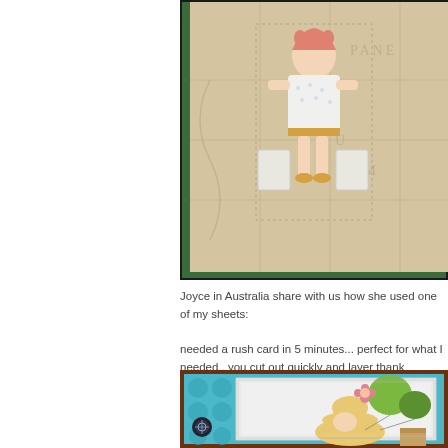[Figure (photo): Craft paper doll figure sitting, wearing white floral dress, on a vintage map background, on a green cutting mat]
Joyce in Australia share with us how she used one of my sheets:

needed a rush card in 5 minutes... perfect for what I needed.. you cut out quickly and layer thank
[Figure (photo): Handmade card with turquoise polka dot border and illustrated character with balloons and flowers]